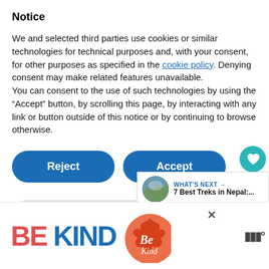Notice
We and selected third parties use cookies or similar technologies for technical purposes and, with your consent, for other purposes as specified in the cookie policy. Denying consent may make related features unavailable.
You can consent to the use of such technologies by using the “Accept” button, by scrolling this page, by interacting with any link or button outside of this notice or by continuing to browse otherwise.
[Figure (screenshot): Reject and Accept buttons (blue, pill-shaped), heart/like widget showing 434, share widget]
[Figure (screenshot): Learn more and customize button (gray, pill-shaped)]
[Figure (screenshot): What's Next panel showing a mountain/Nepal image and text '7 Best Treks in Nepal:...']
[Figure (screenshot): Advertisement banner: BE KIND text in red and blue, decorative floral graphic, close X, logo marks]